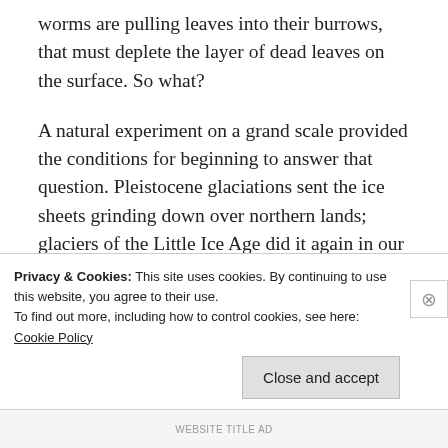worms are pulling leaves into their burrows, that must deplete the layer of dead leaves on the surface. So what?
A natural experiment on a grand scale provided the conditions for beginning to answer that question. Pleistocene glaciations sent the ice sheets grinding down over northern lands; glaciers of the Little Ice Age did it again in our part of North America much more recently. In
Privacy & Cookies: This site uses cookies. By continuing to use this website, you agree to their use.
To find out more, including how to control cookies, see here:
Cookie Policy
Close and accept